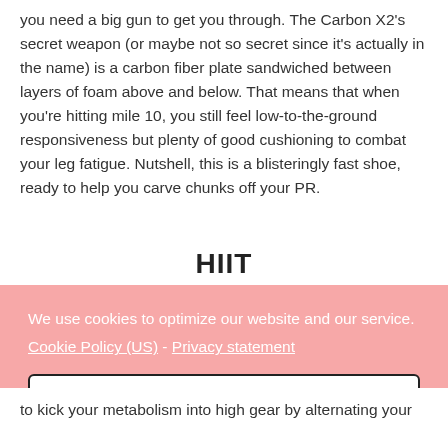you need a big gun to get you through. The Carbon X2's secret weapon (or maybe not so secret since it's actually in the name) is a carbon fiber plate sandwiched between layers of foam above and below. That means that when you're hitting mile 10, you still feel low-to-the-ground responsiveness but plenty of good cushioning to combat your leg fatigue. Nutshell, this is a blisteringly fast shoe, ready to help you carve chunks off your PR.
HIIT
We use cookies to optimize our website and our service. Cookie Policy (US) - Privacy statement
Accept
to kick your metabolism into high gear by alternating your